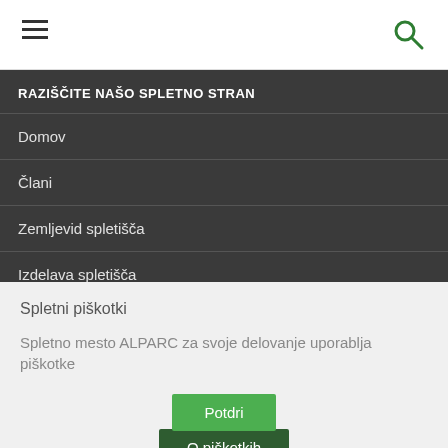Navigation bar with hamburger menu and search icon
RAZIŠČITE NAŠO SPLETNO STRAN
Domov
Člani
Zemljevid spletišča
Izdelava spletišča
Spletni piškotki
Spletno mesto ALPARC za svoje delovanje uporablja piškotke
Potdri
O piškotkih